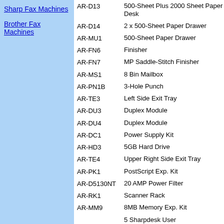Sharp Fax Machines
Brother Fax Machines
| Code | Description |
| --- | --- |
| AR-D13 | 500-Sheet Plus 2000 Sheet Paper Desk |
| AR-D14 | 2 x 500-Sheet Paper Drawer |
| AR-MU1 | 500-Sheet Paper Drawer |
| AR-FN6 | Finisher |
| AR-FN7 | MP Saddle-Stitch Finisher |
| AR-MS1 | 8 Bin Mailbox |
| AR-PN1B | 3-Hole Punch |
| AR-TE3 | Left Side Exit Tray |
| AR-DU3 | Duplex Module |
| AR-DU4 | Duplex Module |
| AR-DC1 | Power Supply Kit |
| AR-HD3 | 5GB Hard Drive |
| AR-TE4 | Upper Right Side Exit Tray |
| AR-PK1 | PostScript Exp. Kit |
| AR-D5130NT | 20 AMP Power Filter |
| AR-RK1 | Scanner Rack |
| AR-MM9 | 8MB Memory Exp. Kit |
|  | 5 Sharpdesk User... |